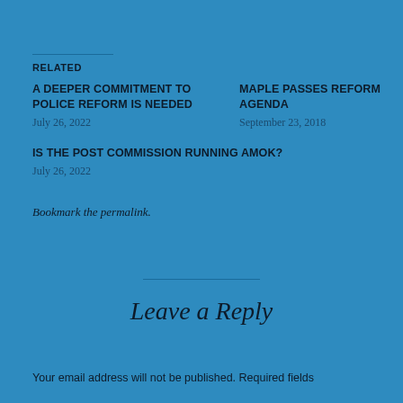RELATED
A DEEPER COMMITMENT TO POLICE REFORM IS NEEDED
July 26, 2022
MAPLE PASSES REFORM AGENDA
September 23, 2018
IS THE POST COMMISSION RUNNING AMOK?
July 26, 2022
Bookmark the permalink.
Leave a Reply
Your email address will not be published. Required fields